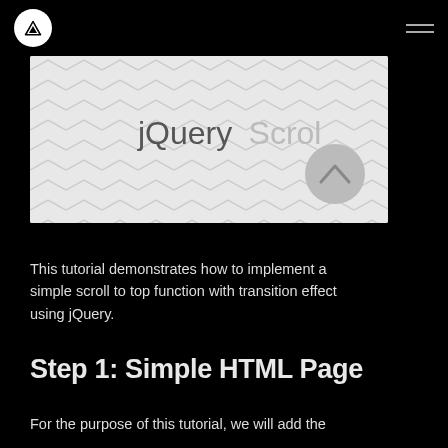jQuery Scroll To Top Tutorial
[Figure (screenshot): Hero banner image showing 'jQuery Scroll' text on a light gray background with watermark chevron pattern, and a gray circular button with a chevron icon on the right side]
This tutorial demonstrates how to implement a simple scroll to top function with transition effect using jQuery.
Step 1: Simple HTML Page
For the purpose of this tutorial, we will add the